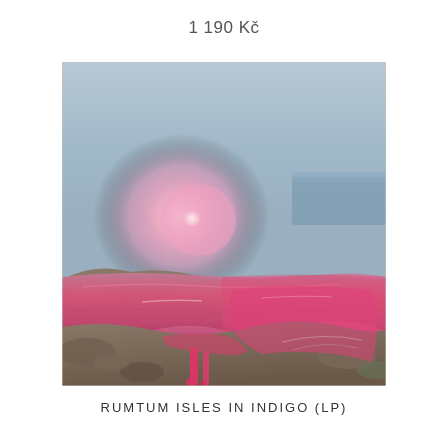1 190 Kč
[Figure (photo): Album cover artwork for 'Rumtum Isles in Indigo (LP)'. A surrealist landscape photograph showing a seascape with vivid pink/magenta sunset glow reflected on water, with muted blue sky and rocky shoreline. Pink paint or ink drips down from the center-bottom of the image. The overall effect is dreamy and psychedelic.]
RUMTUM ISLES IN INDIGO (LP)